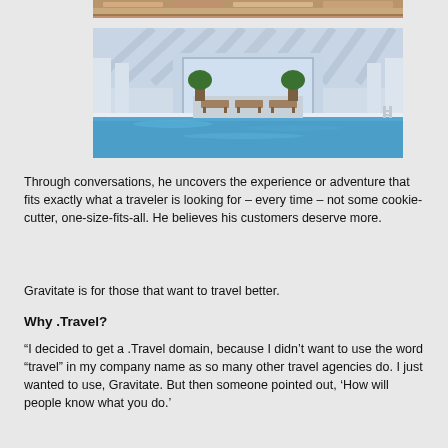[Figure (photo): Partial view of a cruise ship deck or dining area, bottom portion visible]
[Figure (photo): Luxury hotel or cruise ship indoor pool with white columns, lounge chairs, and blue water]
Through conversations, he uncovers the experience or adventure that fits exactly what a traveler is looking for – every time – not some cookie-cutter, one-size-fits-all. He believes his customers deserve more.
Gravitate is for those that want to travel better.
Why .Travel?
“I decided to get a .Travel domain, because I didn’t want to use the word “travel” in my company name as so many other travel agencies do. I just wanted to use, Gravitate. But then someone pointed out, ‘How will people know what you do.’